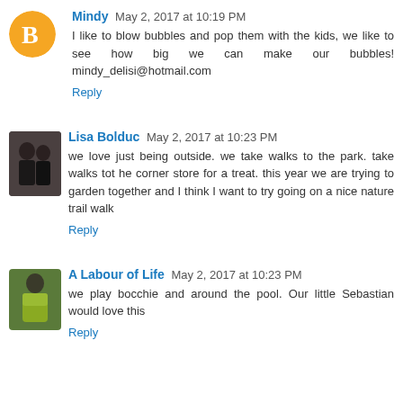Mindy May 2, 2017 at 10:19 PM
I like to blow bubbles and pop them with the kids, we like to see how big we can make our bubbles! mindy_delisi@hotmail.com
Reply
Lisa Bolduc May 2, 2017 at 10:23 PM
we love just being outside. we take walks to the park. take walks tot he corner store for a treat. this year we are trying to garden together and I think I want to try going on a nice nature trail walk
Reply
A Labour of Life May 2, 2017 at 10:23 PM
we play bocchie and around the pool. Our little Sebastian would love this
Reply